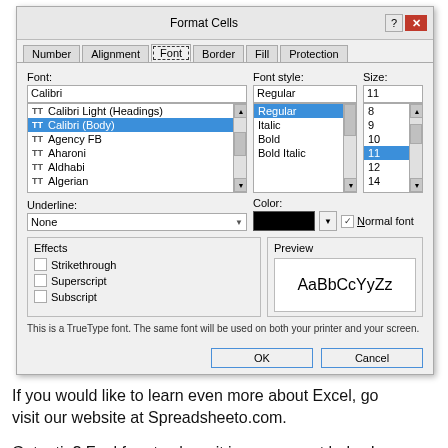[Figure (screenshot): Microsoft Excel Format Cells dialog box open on the Font tab, showing font list with Calibri (Body) selected, font style list with Regular highlighted, size list with 11 highlighted, Underline set to None, Color set to black with Normal font checkbox checked, Effects section with Strikethrough/Superscript/Subscript unchecked, Preview showing AaBbCcYyZz, and a note about TrueType font. OK and Cancel buttons at the bottom.]
If you would like to learn even more about Excel, go visit our website at Spreadsheeto.com.
Got a tip? Feel free to share it in a comment below!